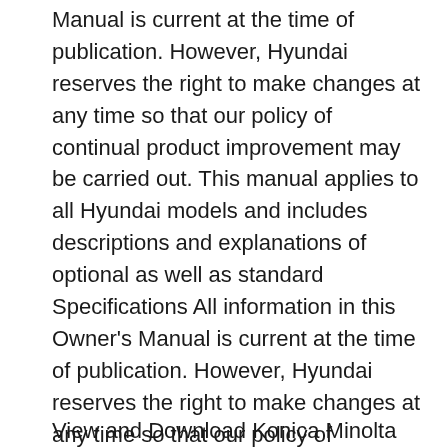Manual is current at the time of publication. However, Hyundai reserves the right to make changes at any time so that our policy of continual product improvement may be carried out. This manual applies to all Hyundai models and includes descriptions and explanations of optional as well as standard Specifications All information in this Owner's Manual is current at the time of publication. However, Hyundai reserves the right to make changes at any time so that our policy of continual product improvement may be carried out. This manual applies to all Hyundai models and includes descriptions and explanations of optional as well as standard
View and Download Konica Minolta REGIUS CS a